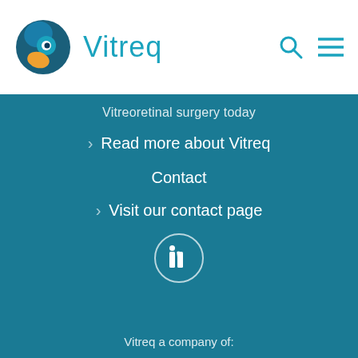[Figure (logo): Vitreq company logo with stylized eye graphic in blue and orange, and teal text 'Vitreq']
Vitreoretinal surgery today
Read more about Vitreq
Contact
Visit our contact page
[Figure (logo): LinkedIn icon in a white circle outline on teal background]
Vitreq a company of: